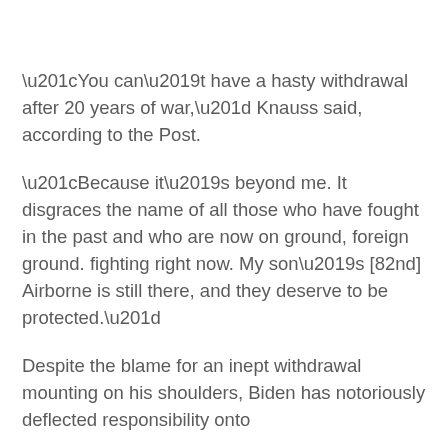“You can’t have a hasty withdrawal after 20 years of war,” Knauss said, according to the Post.
“Because it’s beyond me. It disgraces the name of all those who have fought in the past and who are now on ground, foreign ground. fighting right now. My son’s [82nd] Airborne is still there, and they deserve to be protected.”
Despite the blame for an inept withdrawal mounting on his shoulders, Biden has notoriously deflected responsibility onto